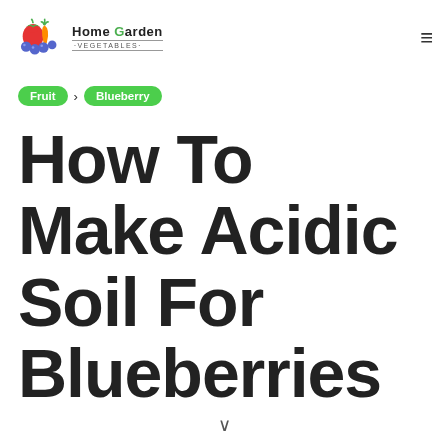Home Garden Vegetables
Fruit > Blueberry
How To Make Acidic Soil For Blueberries